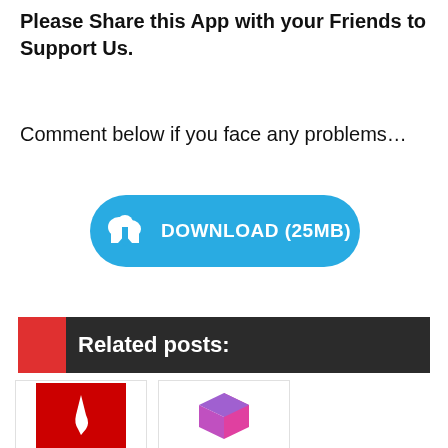Please Share this App with your Friends to Support Us.
Comment below if you face any problems…
[Figure (other): Blue download button with cloud/arrow icon and text DOWNLOAD (25MB)]
Related posts:
[Figure (other): Two related post thumbnail images — Adobe icon (red) and a 3D box icon (purple/pink gradient)]